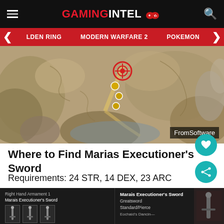GAMINGINTEL
ELDEN RING | MODERN WARFARE 2 | POKEMON
[Figure (map): Elden Ring in-game map showing a location marked with a red circle icon and several yellow markers along a path. 'FromSoftware' watermark in bottom-right corner.]
Where to Find Marias Executioner’s Sword
Requirements: 24 STR, 14 DEX, 23 ARC
Skill: Eochaid’s Dancing Blade
[Figure (screenshot): Elden Ring UI screenshot showing Right Hand Armament 1 slot with Marais Executioner's Sword selected, and item info panel showing Greatsword, Standard/Pierce type.]